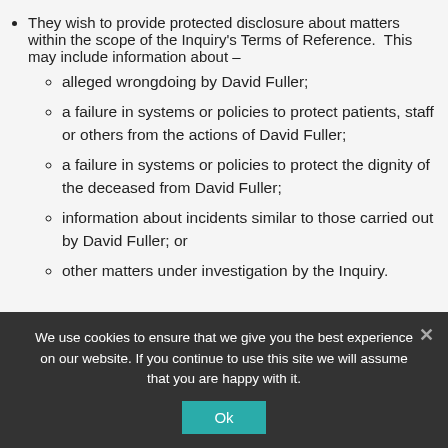They wish to provide protected disclosure about matters within the scope of the Inquiry's Terms of Reference.  This may include information about –
alleged wrongdoing by David Fuller;
a failure in systems or policies to protect patients, staff or others from the actions of David Fuller;
a failure in systems or policies to protect the dignity of the deceased from David Fuller;
information about incidents similar to those carried out by David Fuller; or
other matters under investigation by the Inquiry.
We use cookies to ensure that we give you the best experience on our website. If you continue to use this site we will assume that you are happy with it.